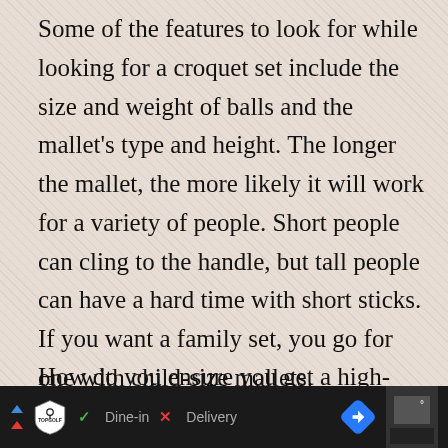Some of the features to look for while looking for a croquet set include the size and weight of balls and the mallet's type and height. The longer the mallet, the more likely it will work for a variety of people. Short people can cling to the handle, but tall people can have a hard time with short sticks. If you want a family set, you go for one with child-size mallets.
How do you ensure you get a high-quality set?
When buying a croquet set, several factors are co...
[Figure (screenshot): Mobile advertisement bar at bottom: dark background with TopGolf logo, Dine-in checkmark, Delivery X mark, navigation arrow, and thumbnail photo]